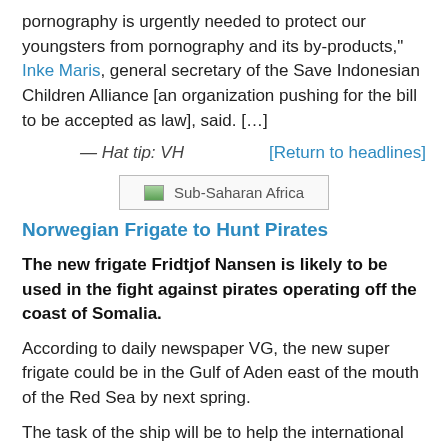pornography is urgently needed to protect our youngsters from pornography and its by-products," Inke Maris, general secretary of the Save Indonesian Children Alliance [an organization pushing for the bill to be accepted as law], said. […]
— Hat tip: VH   [Return to headlines]
[Figure (illustration): Image placeholder for Sub-Saharan Africa section header image]
Norwegian Frigate to Hunt Pirates
The new frigate Fridtjof Nansen is likely to be used in the fight against pirates operating off the coast of Somalia.
According to daily newspaper VG, the new super frigate could be in the Gulf of Aden east of the mouth of the Red Sea by next spring.
The task of the ship will be to help the international naval